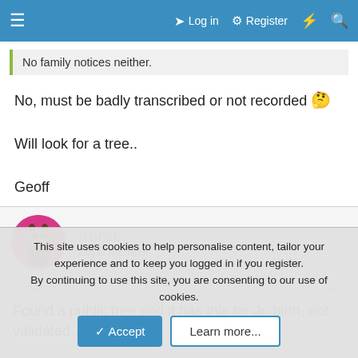≡  Log in  Register  ⚡  🔍
No family notices neither.
No, must be badly transcribed or not recorded 🤔

Will look for a tree..

Geoff
horse
Loyal Member
22 July 2019   #19
Found a public tree and it has this for Jr. birth, not validated..
This site uses cookies to help personalise content, tailor your experience and to keep you logged in if you register.
By continuing to use this site, you are consenting to our use of cookies.